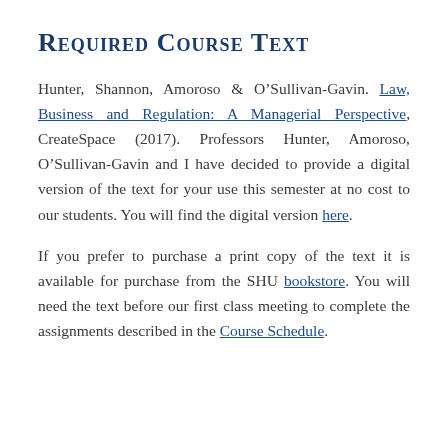Required Course Text
Hunter, Shannon, Amoroso & O’Sullivan-Gavin. Law, Business and Regulation: A Managerial Perspective, CreateSpace (2017). Professors Hunter, Amoroso, O’Sullivan-Gavin and I have decided to provide a digital version of the text for your use this semester at no cost to our students. You will find the digital version here.
If you prefer to purchase a print copy of the text it is available for purchase from the SHU bookstore. You will need the text before our first class meeting to complete the assignments described in the Course Schedule.